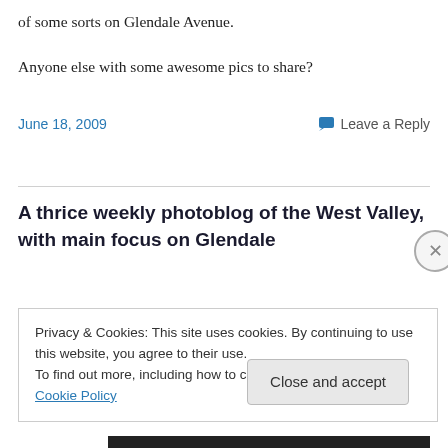of some sorts on Glendale Avenue.
Anyone else with some awesome pics to share?
June 18, 2009
💬 Leave a Reply
A thrice weekly photoblog of the West Valley, with main focus on Glendale
Privacy & Cookies: This site uses cookies. By continuing to use this website, you agree to their use.
To find out more, including how to control cookies, see here: Cookie Policy
Close and accept